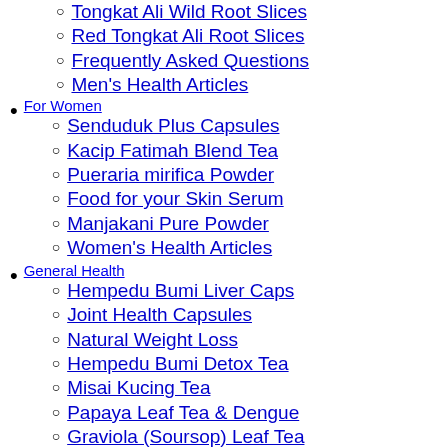Tongkat Ali Wild Root Slices
Red Tongkat Ali Root Slices
Frequently Asked Questions
Men's Health Articles
For Women
Senduduk Plus Capsules
Kacip Fatimah Blend Tea
Pueraria mirifica Powder
Food for your Skin Serum
Manjakani Pure Powder
Women's Health Articles
General Health
Hempedu Bumi Liver Caps
Joint Health Capsules
Natural Weight Loss
Hempedu Bumi Detox Tea
Misai Kucing Tea
Papaya Leaf Tea & Dengue
Graviola (Soursop) Leaf Tea
Moringa Tea
General Health Articles
Turmeric
Turmeric Liquid Gold
Volcano Turmeric Coffee
Turmeric – Curry herb or cancer cure?
About Us